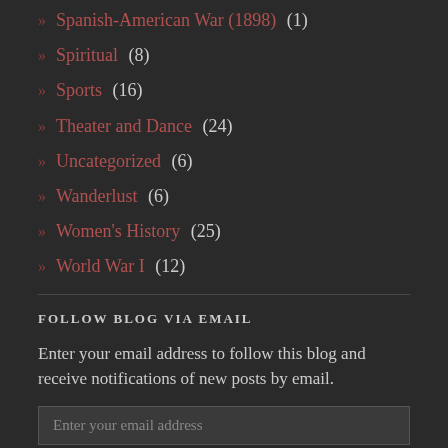» Spanish-American War (1898) (1)
» Spiritual (8)
» Sports (16)
» Theater and Dance (24)
» Uncategorized (6)
» Wanderlust (6)
» Women's History (25)
» World War I (12)
FOLLOW BLOG VIA EMAIL
Enter your email address to follow this blog and receive notifications of new posts by email.
Enter your email address